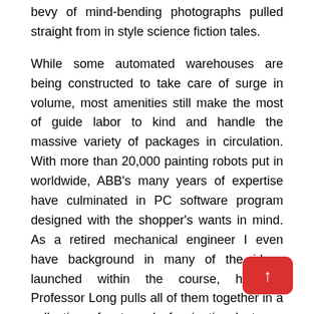bevy of mind-bending photographs pulled straight from in style science fiction tales.
While some automated warehouses are being constructed to take care of surge in volume, most amenities still make the most of guide labor to kind and handle the massive variety of packages in circulation. With more than 20,000 painting robots put in worldwide, ABB's many years of expertise have culminated in PC software program designed with the shopper's wants in mind. As a retired mechanical engineer I even have background in many of the ideas launched within the course, however Professor Long pulls all of them together in a collection of extremely fascinating lectures. Many of the lectures made me conscious of come-offs in robot design that I wouldn't have appreciated before. The use of commercially out there robots make